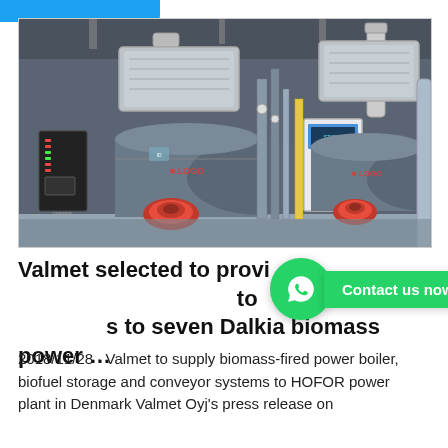[Figure (photo): Industrial boiler room with two large cylindrical steam boilers with red burners, control panels, piping, and associated equipment in a factory setting.]
Valmet selected to provide automation services to seven Dalkia biomass power …
2018/11/28 · Valmet to supply biomass-fired power boiler, biofuel storage and conveyor systems to HOFOR power plant in Denmark Valmet Oyj's press release on